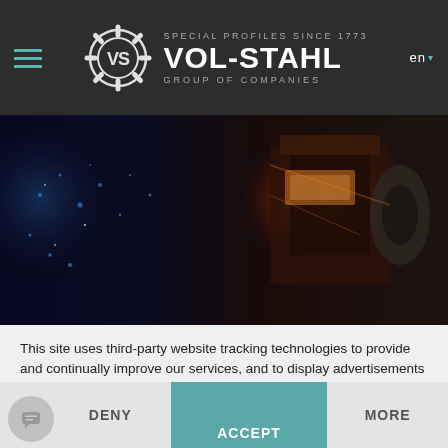SPECIAL PROFILES SINCE 1773  VOL-STAHL  GROUP OF COMPANIES  en
[Figure (photo): Industrial machinery with glowing heated metal and equipment, dark moody industrial setting with blue and orange tones]
This site uses third-party website tracking technologies to provide and continually improve our services, and to display advertisements according to users' interests. I agree and may revoke or change my consent at any time with effect for the future.
DENY  ACCEPT  MORE